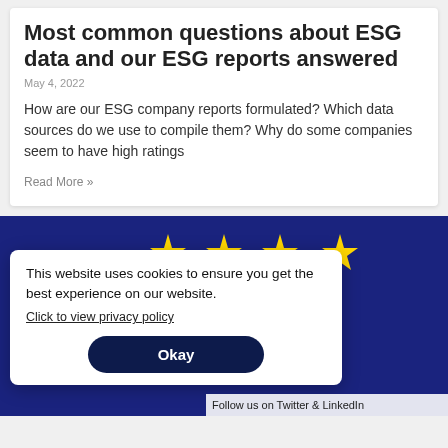Most common questions about ESG data and our ESG reports answered
May 4, 2022
How are our ESG company reports formulated? Which data sources do we use to compile them? Why do some companies seem to have high ratings
Read More »
[Figure (photo): EU flag with yellow stars on dark blue background, partially visible]
This website uses cookies to ensure you get the best experience on our website. Click to view privacy policy
Okay
Follow us on Twitter & LinkedIn